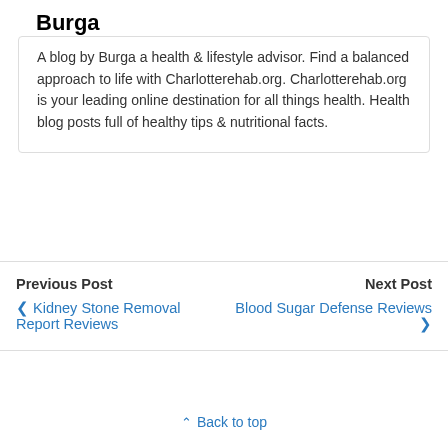Burga
A blog by Burga a health & lifestyle advisor. Find a balanced approach to life with Charlotterehab.org. Charlotterehab.org is your leading online destination for all things health. Health blog posts full of healthy tips & nutritional facts.
Previous Post | Next Post | Kidney Stone Removal Report Reviews | Blood Sugar Defense Reviews
Back to top